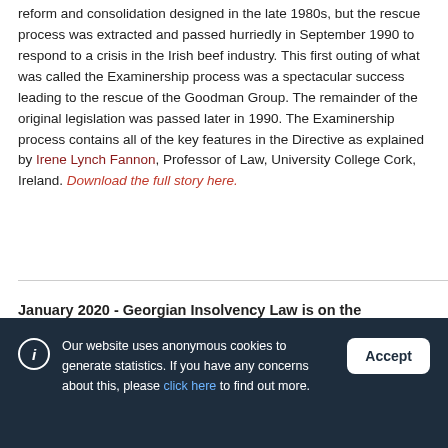originally contained in a larger scheme of corporate law reform and consolidation designed in the late 1980s, but the rescue process was extracted and passed hurriedly in September 1990 to respond to a crisis in the Irish beef industry. This first outing of what was called the Examinership process was a spectacular success leading to the rescue of the Goodman Group. The remainder of the original legislation was passed later in 1990. The Examinership process contains all of the key features in the Directive as explained by Irene Lynch Fannon, Professor of Law, University College Cork, Ireland. Download the full story here.
January 2020 - Georgian Insolvency Law is on the
Our website uses anonymous cookies to generate statistics. If you have any concerns about this, please click here to find out more.